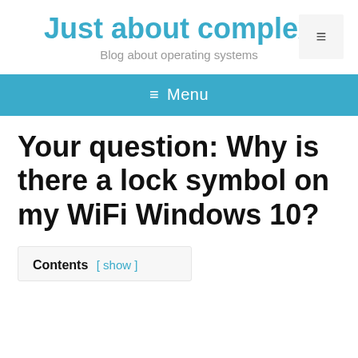Just about complex
Blog about operating systems
≡ Menu
Your question: Why is there a lock symbol on my WiFi Windows 10?
Contents [ show ]